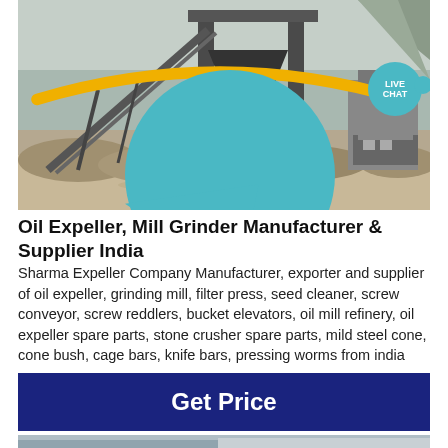[Figure (photo): Industrial quarry/mining machinery site with conveyor belts, steel structures, and crushed rock. GCM Machinery logo overlaid at bottom right with 'LIVE CHAT' badge at top right.]
Oil Expeller, Mill Grinder Manufacturer & Supplier India
Sharma Expeller Company Manufacturer, exporter and supplier of oil expeller, grinding mill, filter press, seed cleaner, screw conveyor, screw reddlers, bucket elevators, oil mill refinery, oil expeller spare parts, stone crusher spare parts, mild steel cone, cone bush, cage bars, knife bars, pressing worms from india
Get Price
[Figure (photo): Partial view of another industrial/outdoor machinery scene at bottom of page.]